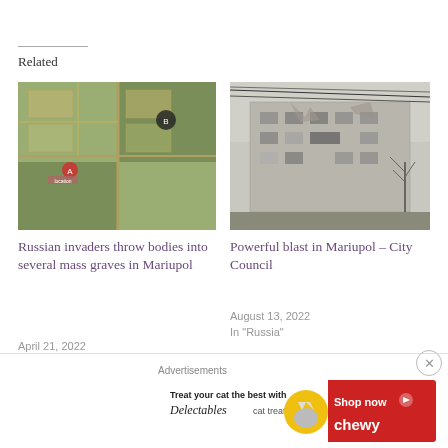Related
[Figure (photo): Aerial satellite view of mass grave sites in Mariupol]
Russian invaders throw bodies into several mass graves in Mariupol
April 21, 2022
In "Ukraine"
[Figure (photo): Destroyed multi-story building in Mariupol with damaged facade]
Powerful blast in Mariupol – City Council
August 13, 2022
In "Russia"
[Figure (photo): Damaged truck with broken windshield]
Advertisements
[Figure (screenshot): Chewy advertisement: Treat your cat the best with Delectables cat treats. Shop now.]